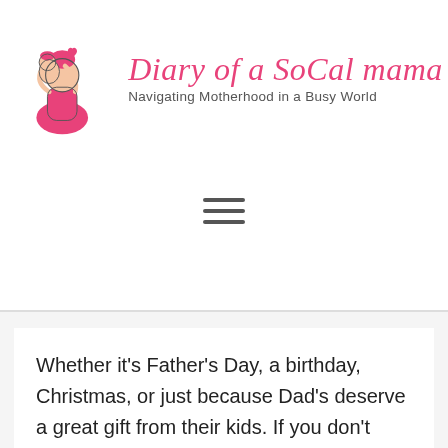[Figure (logo): Diary of a SoCal mama blog logo with illustrated woman and child in pink, and cursive pink title text with subtitle 'Navigating Motherhood in a Busy World']
[Figure (other): Hamburger menu icon (three horizontal lines)]
Whether it's Father's Day, a birthday, Christmas, or just because Dad's deserve a great gift from their kids. If you don't have a lot of money to spend or your kid is too young to shop a fathers day craft may